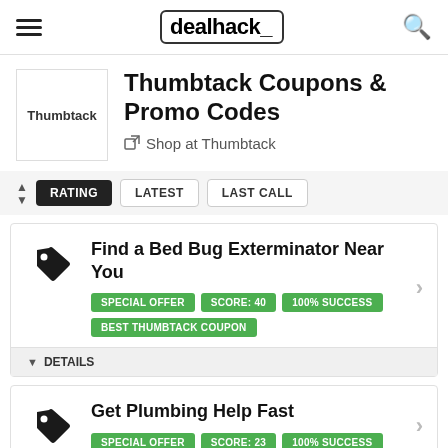dealhack_
Thumbtack Coupons & Promo Codes
Shop at Thumbtack
RATING  LATEST  LAST CALL
Find a Bed Bug Exterminator Near You — SPECIAL OFFER | SCORE: 40 | 100% SUCCESS | BEST THUMBTACK COUPON
DETAILS
Get Plumbing Help Fast — SPECIAL OFFER | SCORE: 23 | 100% SUCCESS